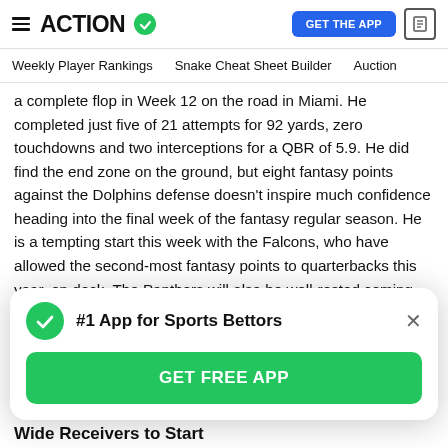ACTION
Weekly Player Rankings   Snake Cheat Sheet Builder   Auction
a complete flop in Week 12 on the road in Miami. He completed just five of 21 attempts for 92 yards, zero touchdowns and two interceptions for a QBR of 5.9. He did find the end zone on the ground, but eight fantasy points against the Dolphins defense doesn't inspire much confidence heading into the final week of the fantasy regular season. He is a tempting start this week with the Falcons, who have allowed the second-most fantasy points to quarterbacks this year, on deck. The Panthers will also be well-rested coming out of a bye week and could be
[Figure (screenshot): Modal popup with green checkmark, title '#1 App for Sports Bettors', close button (×), and green 'GET FREE APP' button]
Wide Receivers to Start